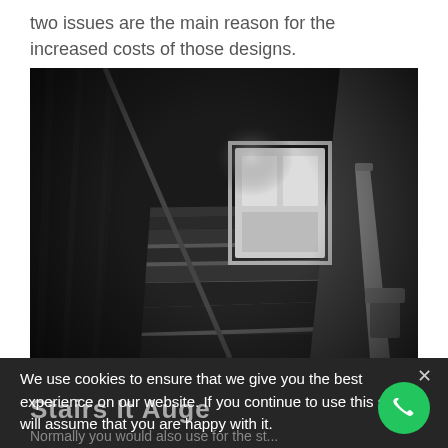two issues are the main reason for the increased costs of those designs.
[Figure (photo): Black and white photograph of a staircase viewed from above, showing carpeted steps leading down to a hallway with a door at the bottom. There is a stairlift rail on the right side. The walls have patterned wallpaper on the left.]
We use cookies to ensure that we give you the best experience on our website. If you continue to use this site we will assume that you are happy with it.
Stairs It Auge
Normally you would also use for the st...